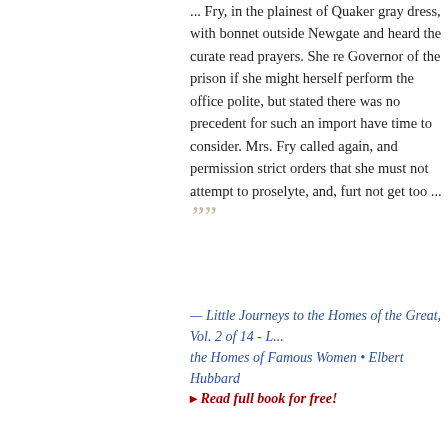... Fry, in the plainest of Quaker gray dress, with bonnet outside Newgate and heard the curate read prayers. She re Governor of the prison if she might herself perform the office polite, but stated there was no precedent for such an import have time to consider. Mrs. Fry called again, and permission strict orders that she must not attempt to proselyte, and, furt not get too ... ””
— Little Journeys to the Homes of the Great, Vol. 2 of 14 - Little Journeys to the Homes of Famous Women • Elbert Hubbard
▸ Read full book for free!
““ ... we did our best for the moment. But I quite agree with you stayed too long at Rome under the circumstances. It wa that going to Sicily, and so wise of you to travel in Egypt. Me
This website uses cookies to ensure you get the best experience on our website. Learn more
Got it!
endure, this out not lice ier spirit, w was far the more potent, he resolved to move to Canada, to